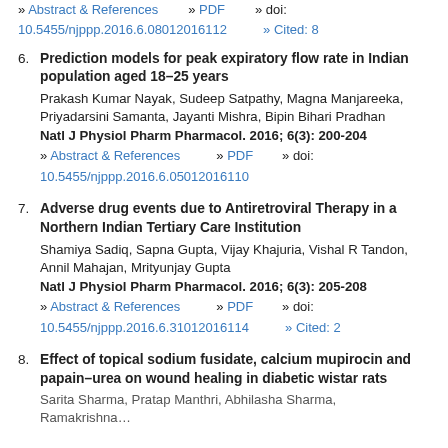» Abstract & References   » PDF   » doi: 10.5455/njppp.2016.6.08012016112   » Cited: 8
6. Prediction models for peak expiratory flow rate in Indian population aged 18–25 years
Prakash Kumar Nayak, Sudeep Satpathy, Magna Manjareeka, Priyadarsini Samanta, Jayanti Mishra, Bipin Bihari Pradhan
Natl J Physiol Pharm Pharmacol. 2016; 6(3): 200-204
» Abstract & References   » PDF   » doi: 10.5455/njppp.2016.6.05012016110
7. Adverse drug events due to Antiretroviral Therapy in a Northern Indian Tertiary Care Institution
Shamiya Sadiq, Sapna Gupta, Vijay Khajuria, Vishal R Tandon, Annil Mahajan, Mrityunjay Gupta
Natl J Physiol Pharm Pharmacol. 2016; 6(3): 205-208
» Abstract & References   » PDF   » doi: 10.5455/njppp.2016.6.31012016114   » Cited: 2
8. Effect of topical sodium fusidate, calcium mupirocin and papain–urea on wound healing in diabetic wistar rats